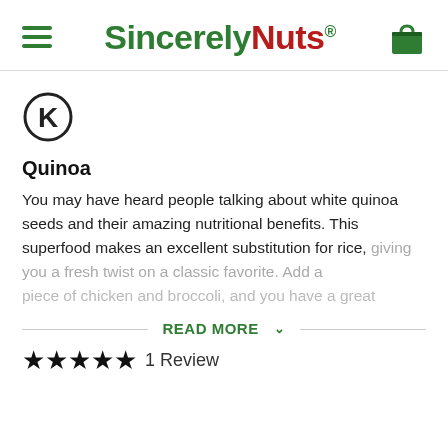Sincerely Nuts
[Figure (logo): Sincerely Nuts logo with hamburger menu icon on the left and shopping bag icon on the right]
[Figure (logo): Kosher certification mark — circle K symbol]
Quinoa
You may have heard people talking about white quinoa seeds and their amazing nutritional benefits. This superfood makes an excellent substitution for rice, giving you a fresh twist on a classic favorite. Add a piece of chicken and broccoli, and you have a great
READ MORE
★★★★★ 1 Review